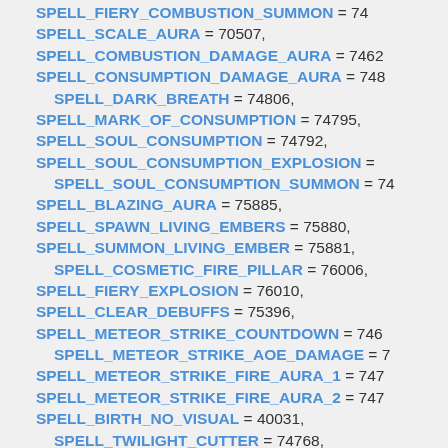SPELL_FIERY_COMBUSTION_SUMMON = 74... (truncated at top)
SPELL_SCALE_AURA = 70507,
SPELL_COMBUSTION_DAMAGE_AURA = 7462...
SPELL_CONSUMPTION_DAMAGE_AURA = 748...
SPELL_DARK_BREATH = 74806,
SPELL_MARK_OF_CONSUMPTION = 74795,
SPELL_SOUL_CONSUMPTION = 74792,
SPELL_SOUL_CONSUMPTION_EXPLOSION = ...
SPELL_SOUL_CONSUMPTION_SUMMON = 74...
SPELL_BLAZING_AURA = 75885,
SPELL_SPAWN_LIVING_EMBERS = 75880,
SPELL_SUMMON_LIVING_EMBER = 75881,
SPELL_COSMETIC_FIRE_PILLAR = 76006,
SPELL_FIERY_EXPLOSION = 76010,
SPELL_CLEAR_DEBUFFS = 75396,
SPELL_METEOR_STRIKE_COUNTDOWN = 746...
SPELL_METEOR_STRIKE_AOE_DAMAGE = 7...
SPELL_METEOR_STRIKE_FIRE_AURA_1 = 747...
SPELL_METEOR_STRIKE_FIRE_AURA_2 = 747...
SPELL_BIRTH_NO_VISUAL = 40031,
SPELL_TWILIGHT_CUTTER = 74768,